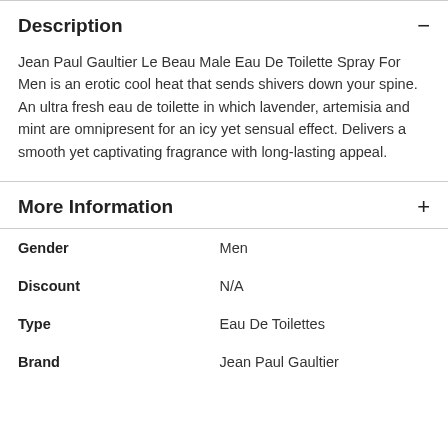Description
Jean Paul Gaultier Le Beau Male Eau De Toilette Spray For Men is an erotic cool heat that sends shivers down your spine. An ultra fresh eau de toilette in which lavender, artemisia and mint are omnipresent for an icy yet sensual effect. Delivers a smooth yet captivating fragrance with long-lasting appeal.
More Information
| Attribute | Value |
| --- | --- |
| Gender | Men |
| Discount | N/A |
| Type | Eau De Toilettes |
| Brand | Jean Paul Gaultier |